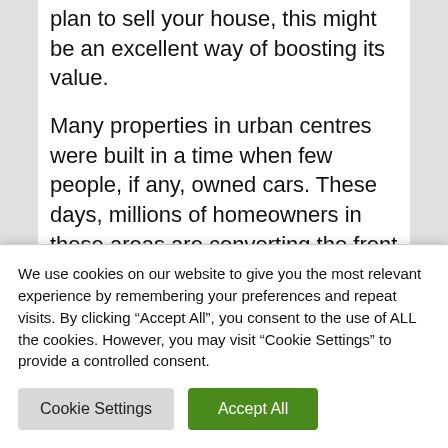plan to sell your house, this might be an excellent way of boosting its value.
Many properties in urban centres were built in a time when few people, if any, owned cars. These days, millions of homeowners in these areas are converting the front garden to a driveway so they have a safe place to park their cars.
Things To Consider
We use cookies on our website to give you the most relevant experience by remembering your preferences and repeat visits. By clicking “Accept All”, you consent to the use of ALL the cookies. However, you may visit “Cookie Settings” to provide a controlled consent.